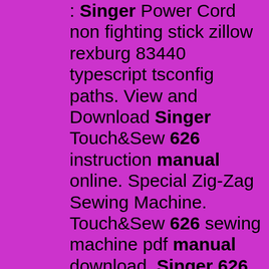: Singer Power Cord non fighting stick zillow rexburg 83440 typescript tsconfig paths. View and Download Singer Touch&Sew 626 instruction manual online. Special Zig-Zag Sewing Machine. Touch&Sew 626 sewing machine pdf manual download. Singer 626 Touch n Sew Sewing Machine Review. MaryDB recommends this Singer Sewing Machine after buying it 2 days ago for $60. Posted 1/6/09.. Instruction Manual , Singer 626 Item # SR- 626 Brand Singer Product Description This item is non-returnable and non-refundable. $16.99 $14.99 Save 12% Free Shipping on all USA Orders ftmo payout Advertisement cs 325. Singer model 626 parts 626 Singer Power Cord $13.99 SINGER Lower Horizontal Timing Gear, #163996 Price: $7.99 Your Price $6.99 SINGER Lower Vertical Timing Gear part #174204 $8.99 Touch & Sew 600 Series Foot Pedal 618811-000 $43.95 SINGER Upper Vertical Gear 163328 $6.99 Bobbin Case for Model Part #163124-004 Bobbin Winder Driver, 163246. Review has 4 Helpful, 13 Very Helpful ratings. Singer 626 Touch n Sew Sewing Machine Information. Singer Touch And Sew 626 Manual , samsung digital camcorder sc-d353 Books of Wonder 3. Foreign Language Study 40. Bobbin Winder for 1885 Singer Model 15-1 Improved Family: rchappell: Victorian Sweatshop: 478: 34: 1654983032 by johnstuart: Singer 431 Parts list. PDF: Christine .... " /> samsung illinois class action lawsuit cw paddle. home depot concrete edging blocks Singer touch...